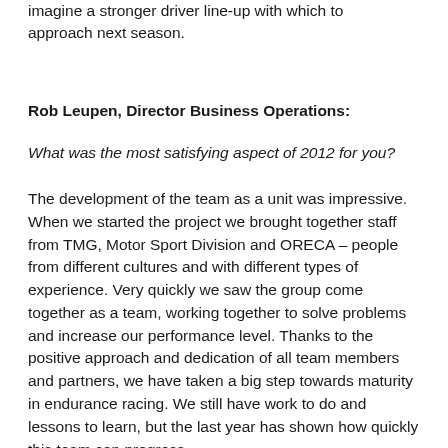imagine a stronger driver line-up with which to approach next season.
Rob Leupen, Director Business Operations:
What was the most satisfying aspect of 2012 for you?
The development of the team as a unit was impressive. When we started the project we brought together staff from TMG, Motor Sport Division and ORECA – people from different cultures and with different types of experience. Very quickly we saw the group come together as a team, working together to solve problems and increase our performance level. Thanks to the positive approach and dedication of all team members and partners, we have taken a big step towards maturity in endurance racing. We still have work to do and lessons to learn, but the last year has shown how quickly this team can progress.